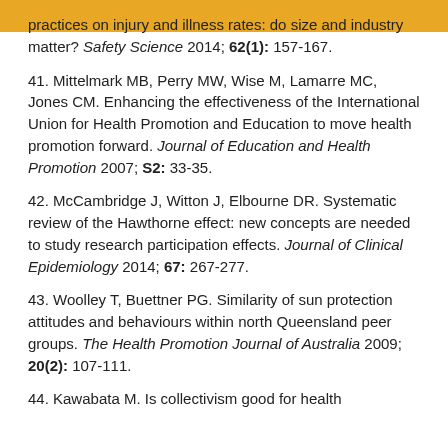practices on injury and illness rates: do size and industry matter? Safety Science 2014; 62(1): 157-167.
41. Mittelmark MB, Perry MW, Wise M, Lamarre MC, Jones CM. Enhancing the effectiveness of the International Union for Health Promotion and Education to move health promotion forward. Journal of Education and Health Promotion 2007; S2: 33-35.
42. McCambridge J, Witton J, Elbourne DR. Systematic review of the Hawthorne effect: new concepts are needed to study research participation effects. Journal of Clinical Epidemiology 2014; 67: 267-277.
43. Woolley T, Buettner PG. Similarity of sun protection attitudes and behaviours within north Queensland peer groups. The Health Promotion Journal of Australia 2009; 20(2): 107-111.
44. Kawabata M. Is collectivism good for health